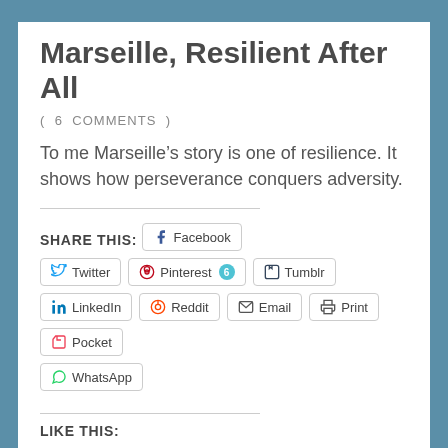Marseille, Resilient After All
( 6 COMMENTS )
To me Marseille’s story is one of resilience. It shows how perseverance conquers adversity.
SHARE THIS:
Facebook
Twitter
Pinterest 6
Tumblr
LinkedIn
Reddit
Email
Print
Pocket
WhatsApp
LIKE THIS: